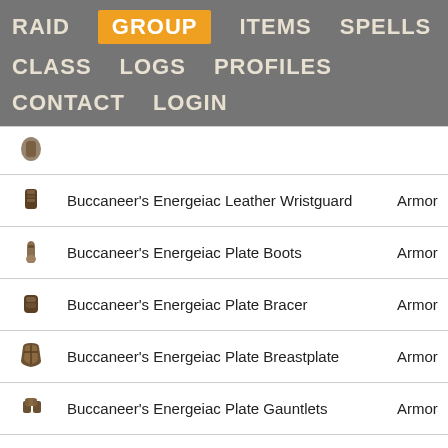RAID  GROUP  ITEMS  SPELLS  AA  CLASS  LOGS  PROFILES  CONTACT  LOGIN
| Icon | Item Name | Type |
| --- | --- | --- |
| [icon] | Buccaneer's Energeiac Leather Wristguard | Armor |
| [icon] | Buccaneer's Energeiac Plate Boots | Armor |
| [icon] | Buccaneer's Energeiac Plate Bracer | Armor |
| [icon] | Buccaneer's Energeiac Plate Breastplate | Armor |
| [icon] | Buccaneer's Energeiac Plate Gauntlets | Armor |
| [icon] | Buccaneer's Energeiac Plate Greaves | Armor |
| [icon] | Buccaneer's Energeiac Plate Helm | Armor |
| [icon] | Buccaneer's Energeiac Plate Vambraces | Armor |